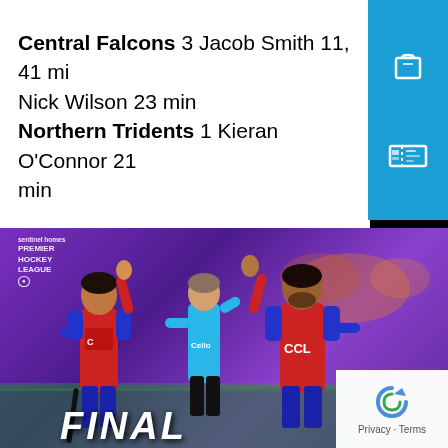Central Falcons 3 Jacob Smith 11, 41 mi Nick Wilson 23 min
Northern Tridents 1 Kieran O'Connor 21 min
[Figure (photo): Two hockey players in red and blue uniforms high-fiving each other on a field, with a referee in blue between them. Premier Hockey League branding visible. Bottom text reads FINAL.]